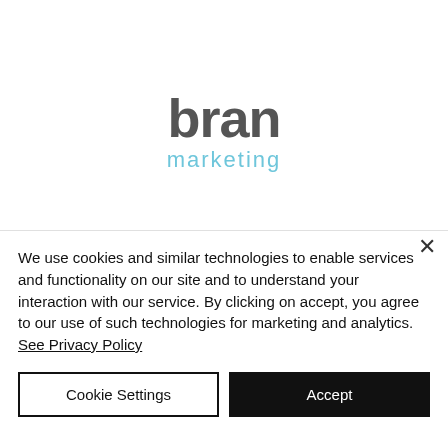[Figure (logo): bran marketing logo — 'bran' in dark grey bold sans-serif, 'marketing' in light blue sans-serif below]
We use cookies and similar technologies to enable services and functionality on our site and to understand your interaction with our service. By clicking on accept, you agree to our use of such technologies for marketing and analytics. See Privacy Policy
Cookie Settings
Accept